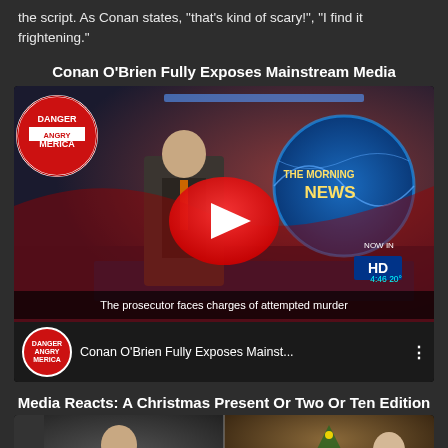the script. As Conan states, “that’s kind of scary!”, “I find it frightening.”
Conan O’Brien Fully Exposes Mainstream Media
[Figure (screenshot): YouTube video thumbnail showing a news anchor at a desk with 'THE MORNING NEWS' branding, a red YouTube play button overlay, and subtitle text 'The prosecutor faces charges of attempted murder'. The video is titled 'Conan O’Brien Fully Exposes Mainst...']
Media Reacts: A Christmas Present Or Two Or Ten Edition
[Figure (screenshot): YouTube video thumbnail showing two newscasters side by side, titled 'Newscasters Agree: A Christmas Pr...', with a Team Coco badge on the left.]